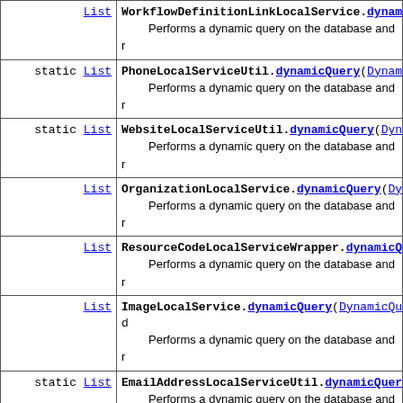| List | WorkflowDefinitionLinkLocalService.dynamicQuery(
Performs a dynamic query on the database and r |
| static List | PhoneLocalServiceUtil.dynamicQuery(DynamicQue
Performs a dynamic query on the database and r |
| static List | WebsiteLocalServiceUtil.dynamicQuery(DynamicQ
Performs a dynamic query on the database and r |
| List | OrganizationLocalService.dynamicQuery(Dynamic
Performs a dynamic query on the database and r |
| List | ResourceCodeLocalServiceWrapper.dynamicQuery(
Performs a dynamic query on the database and r |
| List | ImageLocalService.dynamicQuery(DynamicQuery d
Performs a dynamic query on the database and r |
| static List | EmailAddressLocalServiceUtil.dynamicQuery(Dyn
Performs a dynamic query on the database and r |
| List | ImageLocalServiceWrapper.dynamicQuery(Dynamic
Performs a dynamic query on the database and r |
| List | PortletItemLocalServiceWrapper.dynamicQuery(D
Performs a dynamic query on the database and r |
| List | WebsiteLocalServiceWrapper.dynamicQuery(Dynam
Performs a dynamic query on the database and r |
| List | OrganizationLocalServiceWrapper.dynamicQuery(
Performs a dynamic query on the database and r |